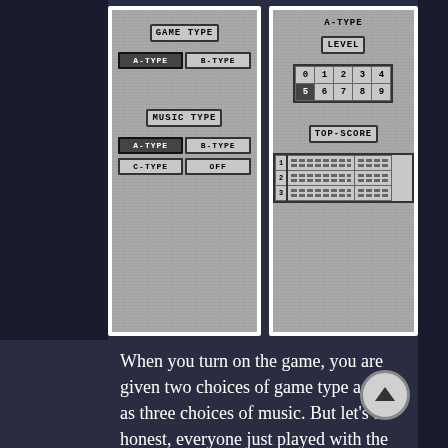[Figure (screenshot): Game Boy Tetris setup screen showing GAME TYPE (A-TYPE selected, B-TYPE), MUSIC TYPE (A-TYPE selected, B-TYPE, C-TYPE, OFF) options on a gray dotted background]
[Figure (screenshot): Game Boy Tetris screen showing A-TYPE at top, LEVEL selector grid (0-9), TOP-SCORE table with 3 entries]
When you turn on the game, you are given two choices of game type as well as three choices of music. But let’s be honest, everyone just played with the default settings, so let’s get right into it. Once you pick the game type and music, you also given the option to set the starting level, which adjusts the game speed. With everything selected, it’s time to start the game.